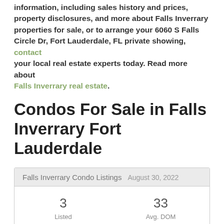information, including sales history and prices, property disclosures, and more about Falls Inverrary properties for sale, or to arrange your 6060 S Falls Circle Dr, Fort Lauderdale, FL private showing, contact your local real estate experts today. Read more about Falls Inverrary real estate.
Condos For Sale in Falls Inverrary Fort Lauderdale
| Falls Inverrary Condo Listings | August 30, 2022 |
| --- | --- |
| 3
Listed | 33
Avg. DOM |
| $202.07
Avg. $ / Sq.Ft. | $185,000
Med. List Price |